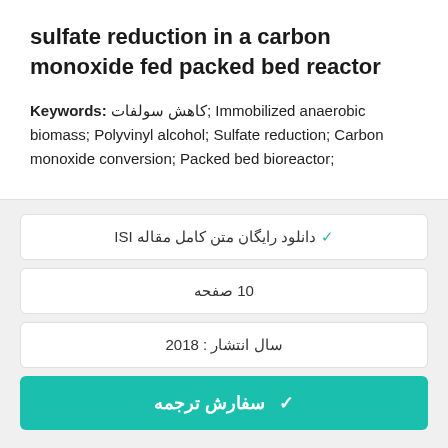sulfate reduction in a carbon monoxide fed packed bed reactor
Keywords: کاهش سولفات; Immobilized anaerobic biomass; Polyvinyl alcohol; Sulfate reduction; Carbon monoxide conversion; Packed bed bioreactor;
✓ دانلود رایگان متن کامل مقاله ISI
10 صفحه
سال انتشار : 2018
✓ سفارش ترجمه